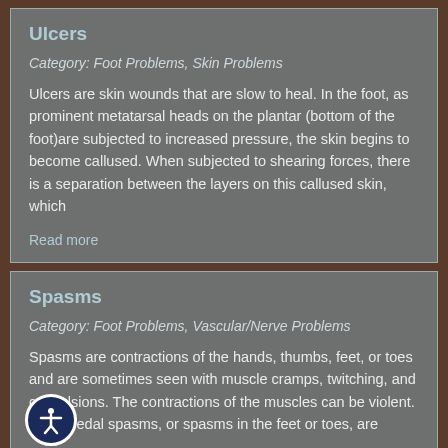Ulcers
Category: Foot Problems, Skin Problems
Ulcers are skin wounds that are slow to heal. In the foot, as prominent metatarsal heads on the plantar (bottom of the foot)are subjected to increased pressure, the skin begins to become callused. When subjected to shearing forces, there is a separation between the layers on this callused skin, which
Read more
Spasms
Category: Foot Problems, Vascular/Nerve Problems
Spasms are contractions of the hands, thumbs, feet, or toes and are sometimes seen with muscle cramps, twitching, and convulsions. The contractions of the muscles can be violent. Carpopedal spasms, or spasms in the feet or toes, are